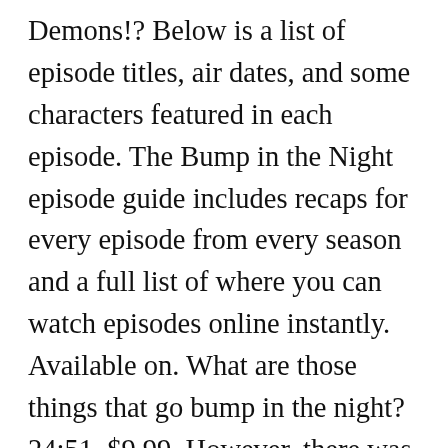Demons!? Below is a list of episode titles, air dates, and some characters featured in each episode. The Bump in the Night episode guide includes recaps for every episode from every season and a full list of where you can watch episodes online instantly. Available on. What are those things that go bump in the night? 24:51. $9.99. However, there was going to be a third season but in 1996 Disney bought ABC and cancelled it the first two seasons were shown as re ... Bumpy "Not of This Boy's Room" - *** Bumpy gets abducted by space aliens, and he tries to help them take over the Earth. Amber Dawn was 20 when she moved into a one-bedroom apartment in ... Watch Bump In The Night Free Online. English. Bumpy lives under